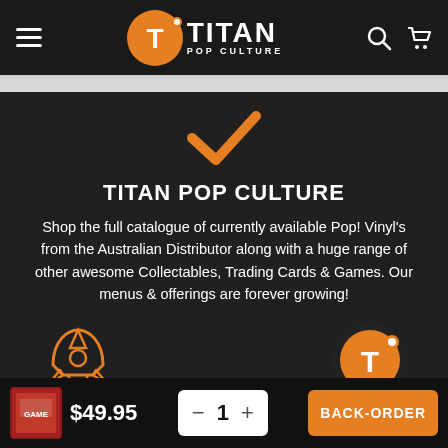TITAN POP CULTURE — navigation header
[Figure (illustration): Orange checkmark icon]
TITAN POP CULTURE
Shop the full catalogue of currently available Pop! Vinyl's from the Australian Distributor along with a huge range of other awesome Collectables, Trading Cards & Games. Our menus & offerings are forever growing!
[Figure (illustration): Orange rocket ship icon]
[Figure (logo): Titan Pop Culture logo circle — small floating button]
$49.95
1
BACK-ORDER